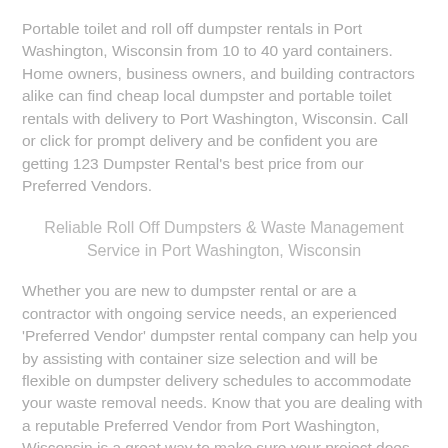Portable toilet and roll off dumpster rentals in Port Washington, Wisconsin from 10 to 40 yard containers. Home owners, business owners, and building contractors alike can find cheap local dumpster and portable toilet rentals with delivery to Port Washington, Wisconsin. Call or click for prompt delivery and be confident you are getting 123 Dumpster Rental's best price from our Preferred Vendors.
Reliable Roll Off Dumpsters & Waste Management Service in Port Washington, Wisconsin
Whether you are new to dumpster rental or are a contractor with ongoing service needs, an experienced 'Preferred Vendor' dumpster rental company can help you by assisting with container size selection and will be flexible on dumpster delivery schedules to accommodate your waste removal needs. Know that you are dealing with a reputable Preferred Vendor from Port Washington, Wisconsin is a great way to make sure your project does not face delays.